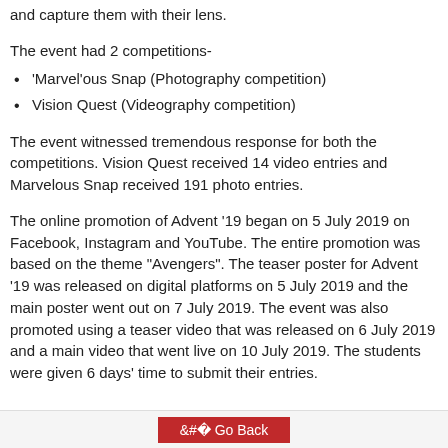and capture them with their lens.
The event had 2 competitions-
'Marvel'ous Snap (Photography competition)
Vision Quest (Videography competition)
The event witnessed tremendous response for both the competitions. Vision Quest received 14 video entries and Marvelous Snap received 191 photo entries.
The online promotion of Advent '19 began on 5 July 2019 on Facebook, Instagram and YouTube. The entire promotion was based on the theme "Avengers". The teaser poster for Advent '19 was released on digital platforms on 5 July 2019 and the main poster went out on 7 July 2019. The event was also promoted using a teaser video that was released on 6 July 2019 and a main video that went live on 10 July 2019. The students were given 6 days' time to submit their entries.